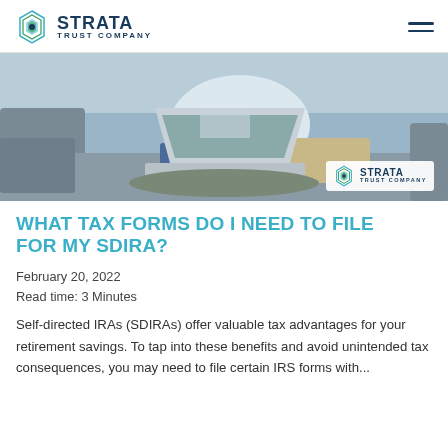STRATA TRUST COMPANY
[Figure (photo): Person sitting on a grey couch working on a laptop, with Strata Trust Company logo overlay in bottom right corner]
WHAT TAX FORMS DO I NEED TO FILE FOR MY SDIRA?
February 20, 2022
Read time: 3 Minutes
Self-directed IRAs (SDIRAs) offer valuable tax advantages for your retirement savings. To tap into these benefits and avoid unintended tax consequences, you may need to file certain IRS forms with...